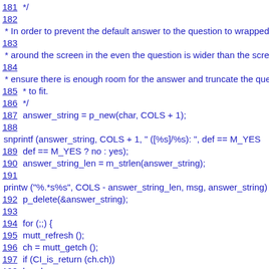181 */
182
* In order to prevent the default answer to the question to wrapped
183
* around the screen in the even the question is wider than the scree
184
* ensure there is enough room for the answer and truncate the ques
185   * to fit.
186   */
187   answer_string = p_new(char, COLS + 1);
188
snprintf (answer_string, COLS + 1, " ([%s]/%s): ", def == M_YES
189         def == M_YES ? no : yes);
190   answer_string_len = m_strlen(answer_string);
191
printw ("%.*s%s", COLS - answer_string_len, msg, answer_string)
192   p_delete(&answer_string);
193
194   for (;;) {
195     mutt_refresh ();
196     ch = mutt_getch ();
197     if (CI_is_return (ch.ch))
198       break;
199     if (ch.ch == -1) {
200       def = -1;
201       break;